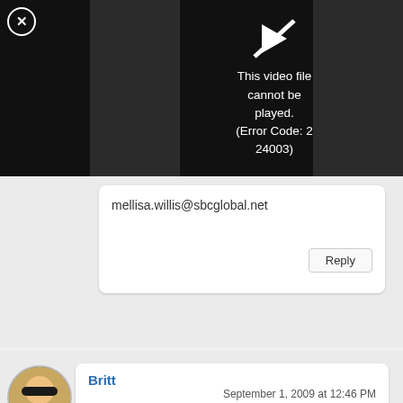[Figure (screenshot): Video player showing error: 'This video file cannot be played. (Error Code: 2 24003)' on black background with close button (X in circle) top left]
mellisa.willis@sbcglobal.net
Reply
Britt
September 1, 2009 at 12:46 PM
Definitely love baking cookies! Also LOVE baking King Arthur products and my King Arthur cookbook!
Reply